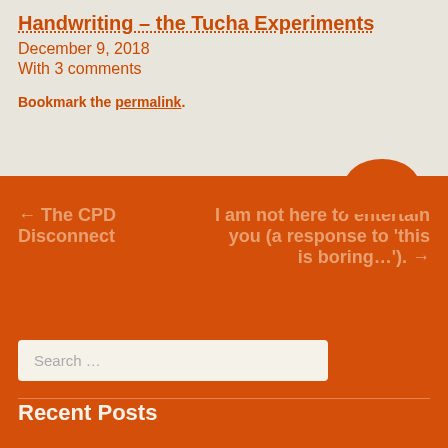Handwriting – the Tucha Experiments
December 9, 2018
With 3 comments
Bookmark the permalink.
← The CPD Disconnect
I am not here to entertain you (a response to 'this is boring…'). →
Search …
Recent Posts